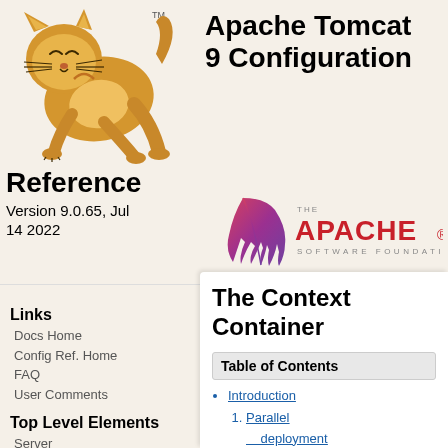[Figure (illustration): Apache Tomcat cat mascot logo — orange cat leaping with TM mark]
Apache Tomcat 9 Configuration
Reference
Version 9.0.65, Jul 14 2022
[Figure (logo): The Apache Software Foundation feather logo in red/purple gradient with text]
Links
Docs Home
Config Ref. Home
FAQ
User Comments
Top Level Elements
Server
Service
Executors
Executor
The Context Container
Table of Contents
Introduction
1. Parallel deployment
2. Naming
3. Defining a context
Attributes